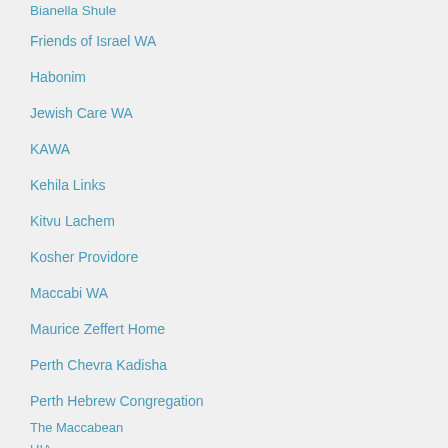Bianella Shule
Friends of Israel WA
Habonim
Jewish Care WA
KAWA
Kehila Links
Kitvu Lachem
Kosher Providore
Maccabi WA
Maurice Zeffert Home
Perth Chevra Kadisha
Perth Hebrew Congregation
The Maccabean
UIA